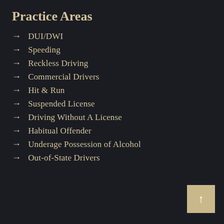Practice Areas
DUI/DWI
Speeding
Reckless Driving
Commercial Drivers
Hit & Run
Suspended License
Driving Without A License
Habitual Offender
Underage Possession of Alcohol
Out-of-State Drivers